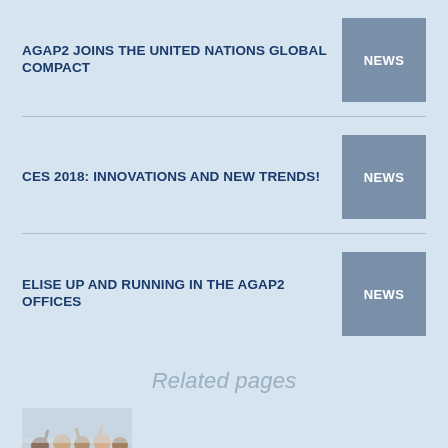AGAP2 JOINS THE UNITED NATIONS GLOBAL COMPACT
NEWS
CES 2018: INNOVATIONS AND NEW TRENDS!
NEWS
ELISE UP AND RUNNING IN THE AGAP2 OFFICES
NEWS
Related pages
[Figure (photo): Group photo of people at an event]
JOBS